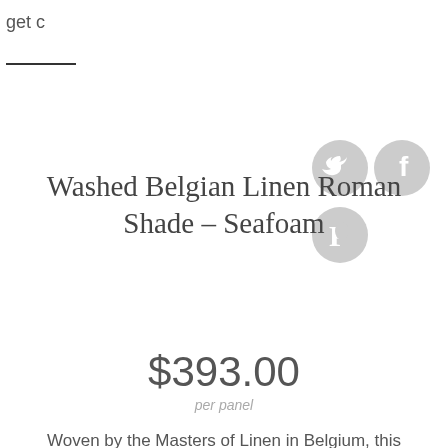get c
[Figure (illustration): Social media icons: Twitter bird icon (grey circle), Facebook 'f' icon (grey circle), Pinterest 'P' icon (grey circle)]
Washed Belgian Linen Roman Shade - Seafoam
$393.00
per panel
Woven by the Masters of Linen in Belgium, this washed Belgian Linen fabric is soft and is
No of Panels
1